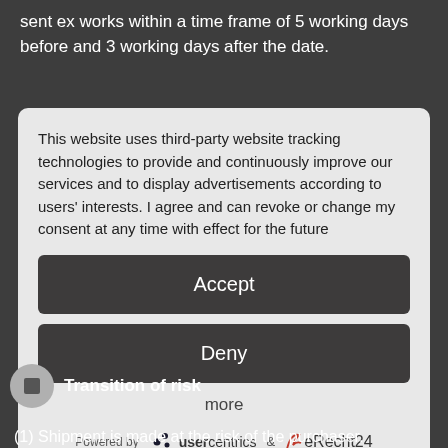sent ex works within a time frame of 5 working days before and 3 working days after the date.
This website uses third-party website tracking technologies to provide and continuously improve our services and to display advertisements according to users' interests. I agree and can revoke or change my consent at any time with effect for the future
Accept
Deny
more
Powered by  usercentrics & eRecht24
Imprint | Privacy Policy
Transition of risk
(1) Shipment is made at the risk of the purchaser.